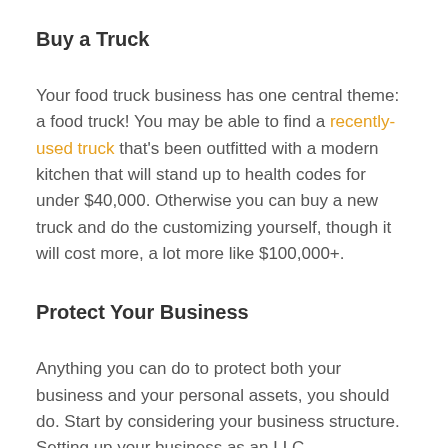Buy a Truck
Your food truck business has one central theme: a food truck! You may be able to find a recently-used truck that's been outfitted with a modern kitchen that will stand up to health codes for under $40,000. Otherwise you can buy a new truck and do the customizing yourself, though it will cost more, a lot more like $100,000+.
Protect Your Business
Anything you can do to protect both your business and your personal assets, you should do. Start by considering your business structure. Setting up your business as an LLC